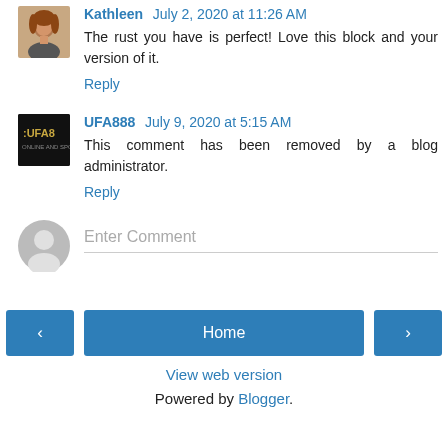Kathleen July 2, 2020 at 11:26 AM
The rust you have is perfect! Love this block and your version of it.
Reply
UFA888 July 9, 2020 at 5:15 AM
This comment has been removed by a blog administrator.
Reply
Enter Comment
View web version
Powered by Blogger.